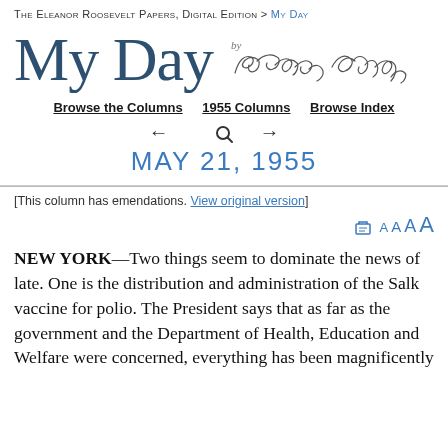The Eleanor Roosevelt Papers, Digital Edition > My Day
My Day by Eleanor Roosevelt
Browse the Columns   1955 Columns   Browse Index
← 🔍 →
MAY 21, 1955
[This column has emendations. View original version]
NEW YORK—Two things seem to dominate the news of late. One is the distribution and administration of the Salk vaccine for polio. The President says that as far as the government and the Department of Health, Education and Welfare were concerned, everything has been magnificently